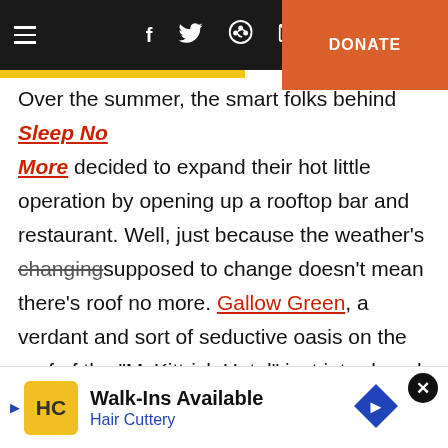Navigation bar with hamburger menu, social icons (Facebook, Twitter, Reddit, Email), and DONATE button
Over the summer, the smart folks behind Sleep No More decided to expand their hot little operation by opening up a rooftop bar and restaurant. Well, just because the weather's changing supposed to change doesn't mean there's roof no more. Gallow Green, a verdant and sort of seductive oasis on the roof of the "McKittrick Hotel" just introduced a fall menu. And with a fire pit, a live old-timey jazz band, bowls of stiff punch, and a pile of vintage blankets, they're determined to keep the green going as long as possib
[Figure (screenshot): Advertisement banner for Hair Cuttery: Walk-Ins Available, with HC logo and navigation arrow icon. Has a close (X) button.]